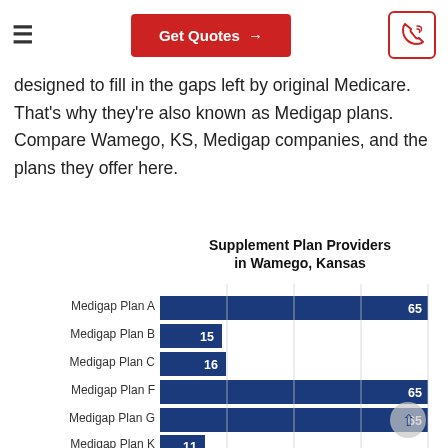≡  Get Quotes →  [phone icon]
designed to fill in the gaps left by original Medicare. That's why they're also known as Medigap plans. Compare Wamego, KS, Medigap companies, and the plans they offer here.
[Figure (bar-chart): Supplement Plan Providers in Wamego, Kansas]